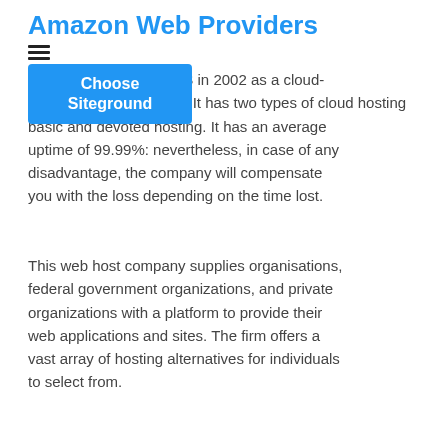Amazon Web Providers
Amazon developed AWS in 2002 as a cloud-based platform. It has two types of cloud hosting basic and devoted hosting. It has an average uptime of 99.99%: nevertheless, in case of any disadvantage, the company will compensate you with the loss depending on the time lost.
This web host company supplies organisations, federal government organizations, and private organizations with a platform to provide their web applications and sites. The firm offers a vast array of hosting alternatives for individuals to select from.